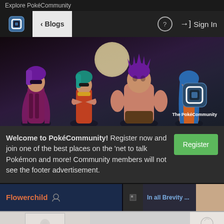Explore PokéCommunity
[Figure (screenshot): Navigation bar with PokéCommunity logo, Blogs back button, help icon, and Sign In link]
[Figure (illustration): Hero banner with four anime-style Pokémon trainer characters and The PokéCommunity logo]
Welcome to PokéCommunity! Register now and join one of the best places on the 'net to talk Pokémon and more! Community members will not see the footer advertisement.
[Figure (screenshot): Blog card row showing Flowerchild blog and another blog titled In all Brevity with thumbnail]
[Figure (screenshot): Bottom row with image thumbnails and Posted January 4th text]